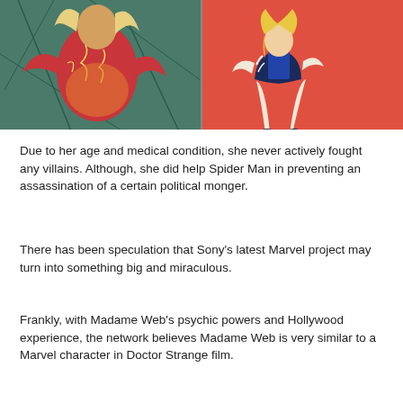[Figure (illustration): Two comic/illustration panels side by side: left panel shows a character in red with glowing cracks on a dark background; right panel shows a female character in a black and white swimsuit-style costume on a red/orange background.]
Due to her age and medical condition, she never actively fought any villains. Although, she did help Spider Man in preventing an assassination of a certain political monger.
There has been speculation that Sony's latest Marvel project may turn into something big and miraculous.
Frankly, with Madame Web's psychic powers and Hollywood experience, the network believes Madame Web is very similar to a Marvel character in Doctor Strange film.